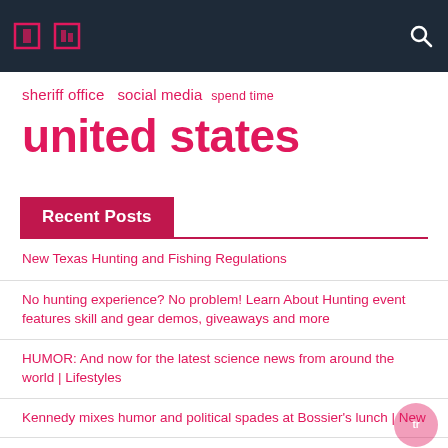[Navigation bar with icons and search]
sheriff office  social media  spend time
united states
Recent Posts
New Texas Hunting and Fishing Regulations
No hunting experience? No problem! Learn About Hunting event features skill and gear demos, giveaways and more
HUMOR: And now for the latest science news from around the world | Lifestyles
Kennedy mixes humor and political spades at Bossier's lunch | New
The Heritage of Hunting endowment preserves tradition